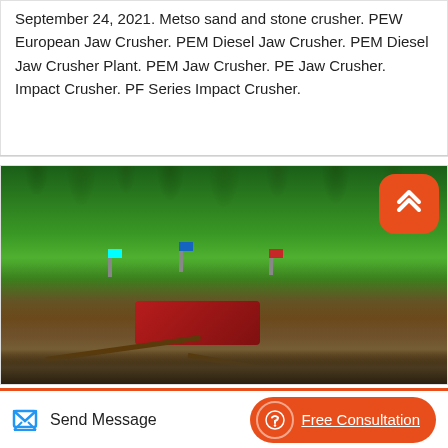September 24, 2021. Metso sand and stone crusher. PEW European Jaw Crusher. PEM Diesel Jaw Crusher. PEM Diesel Jaw Crusher Plant. PEM Jaw Crusher. PE Jaw Crusher. Impact Crusher. PF Series Impact Crusher.
[Figure (photo): Outdoor photo of a jaw crusher / stone crushing plant with red metal framework and conveyor belts, surrounded by dense green pine forest. Colorful flags (blue, red) visible on poles. A red rounded-rectangle scroll-to-top button with a white chevron icon overlaid in the top-right corner.]
Send Message   Free Consultation